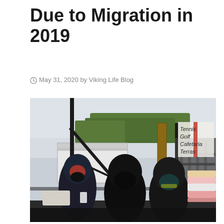Due to Migration in 2019
May 31, 2020 by Viking Life Blog
[Figure (photo): Three people in heavy winter coats and hooded jackets sitting in what appears to be an outdoor shelter or bus stop area. A sign in the upper right reads 'Tennis Golf Cafetaria Terras'. Blankets and folded clothing are piled on the right side. The scene appears to depict migrants.]